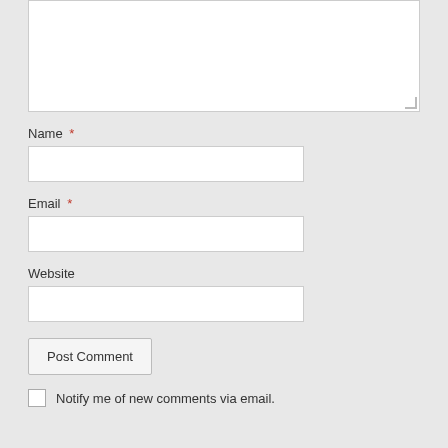[Figure (screenshot): Comment form textarea (empty, resizable white box)]
Name *
[Figure (screenshot): Name text input field (empty white box)]
Email *
[Figure (screenshot): Email text input field (empty white box)]
Website
[Figure (screenshot): Website text input field (empty white box)]
[Figure (screenshot): Post Comment submit button]
Notify me of new comments via email.